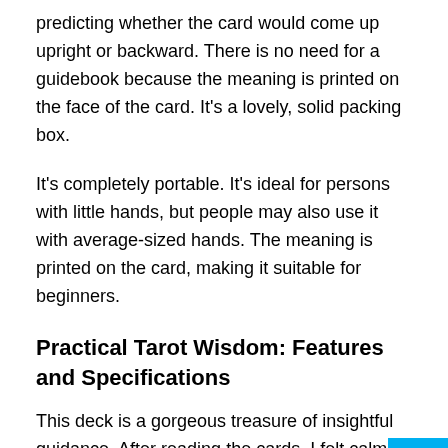predicting whether the card would come up upright or backward. There is no need for a guidebook because the meaning is printed on the face of the card. It's a lovely, solid packing box.
It's completely portable. It's ideal for persons with little hands, but people may also use it with average-sized hands. The meaning is printed on the card, making it suitable for beginners.
Practical Tarot Wisdom: Features and Specifications
This deck is a gorgeous treasure of insightful guidance. After reading the cards, I felt calmer, more centered, and ready to take action. The cards will inspire anyone to embrace opportunity and spark innovation.